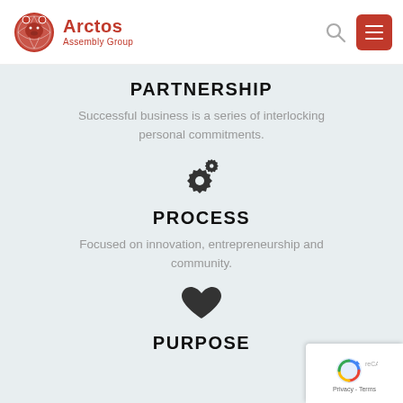[Figure (logo): Arctos Assembly Group logo — red bear-globe icon with red text 'Arctos' and 'Assembly Group']
PARTNERSHIP
Successful business is a series of interlocking personal commitments.
[Figure (illustration): Gear/cogs icon representing process]
PROCESS
Focused on innovation, entrepreneurship and community.
[Figure (illustration): Heart icon representing purpose]
PURPOSE